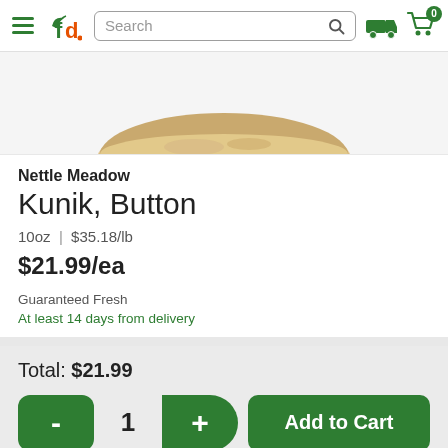[Figure (screenshot): FreshDirect website header with hamburger menu, fd logo, search bar, delivery truck icon, and cart icon showing 0 items]
[Figure (photo): Partial bottom view of a round Kunik Button cheese against white background]
Nettle Meadow
Kunik, Button
10oz | $35.18/lb
$21.99/ea
Guaranteed Fresh
At least 14 days from delivery
Total: $21.99
- 1 + Add to Cart